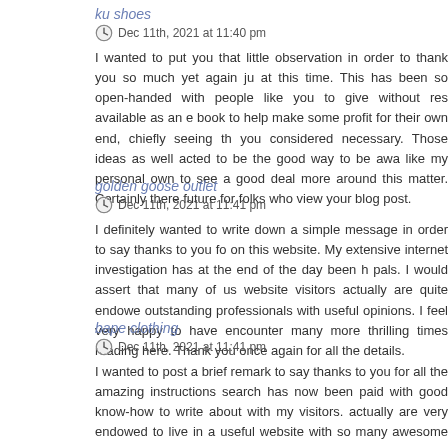ku shoes
Dec 11th, 2021 at 11:40 pm
I wanted to put you that little observation in order to thank you so much yet again ju at this time. This has been so open-handed with people like you to give without res available as an e book to help make some profit for their own end, chiefly seeing th you considered necessary. Those ideas as well acted to be the good way to be awa like my personal own to see a good deal more around this matter. Certainly there future for folks who view your blog post.
golden goose outlet
Dec 11th, 2021 at 11:41 pm
I definitely wanted to write down a simple message in order to say thanks to you fo on this website. My extensive internet investigation has at the end of the day been h pals. I would assert that many of us website visitors actually are quite endowe outstanding professionals with useful opinions. I feel very happy to have encounter many more thrilling times reading here. Thank you once again for all the details.
bape clothing
Dec 11th, 2021 at 11:41 pm
I wanted to post a brief remark to say thanks to you for all the amazing instructions search has now been paid with good know-how to write about with my visitors. actually are very endowed to live in a useful website with so many awesome profess have discovered your weblog and look forward to many more enjoyable moments